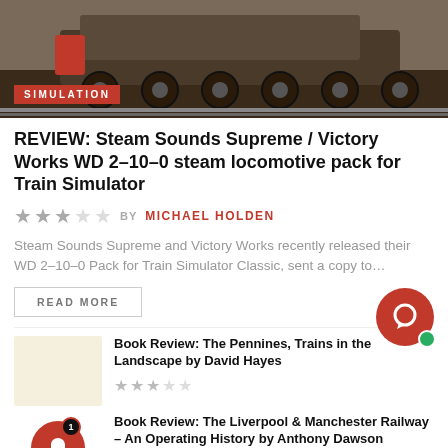[Figure (photo): Top portion of a train/locomotive image with a red SIMULATION badge overlay in the lower left]
REVIEW: Steam Sounds Supreme / Victory Works WD 2-10-0 steam locomotive pack for Train Simulator
BY MICHAEL HOLDEN (3 out of 5 stars rating)
Steam Sounds Supreme and Victory Works recently released their WD 2-10-0 Pack for Train Simulator Classic, sent a copy to...
READ MORE
Book Review: The Pennines, Trains in the Landscape by David Hayes
3 out of 5 stars rating
Book Review: The Liverpool & Manchester Railway – An Operating History by Anthony Dawson